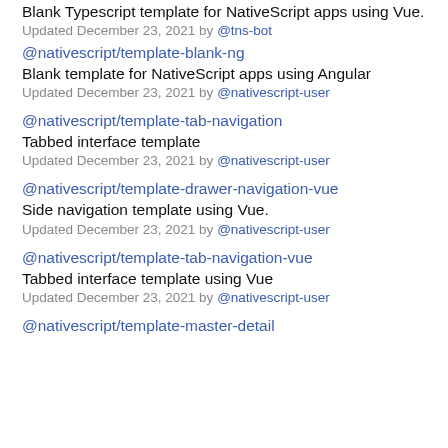Blank Typescript template for NativeScript apps using Vue.
Updated December 23, 2021 by @tns-bot
@nativescript/template-blank-ng
Blank template for NativeScript apps using Angular
Updated December 23, 2021 by @nativescript-user
@nativescript/template-tab-navigation
Tabbed interface template
Updated December 23, 2021 by @nativescript-user
@nativescript/template-drawer-navigation-vue
Side navigation template using Vue.
Updated December 23, 2021 by @nativescript-user
@nativescript/template-tab-navigation-vue
Tabbed interface template using Vue
Updated December 23, 2021 by @nativescript-user
@nativescript/template-master-detail